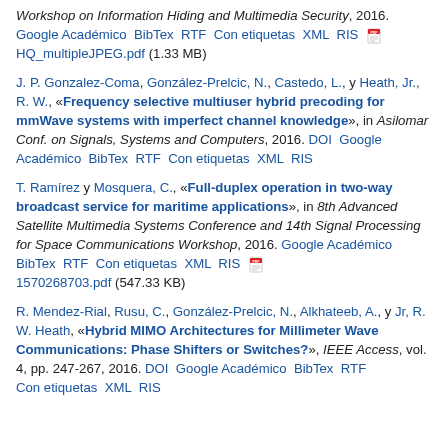Workshop on Information Hiding and Multimedia Security, 2016. Google Académico BibTex RTF Con etiquetas XML RIS [PDF icon] HQ_multipleJPEG.pdf (1.33 MB)
J. P. Gonzalez-Coma, González-Prelcic, N., Castedo, L., y Heath, Jr., R. W., «Frequency selective multiuser hybrid precoding for mmWave systems with imperfect channel knowledge», in Asilomar Conf. on Signals, Systems and Computers, 2016. DOI Google Académico BibTex RTF Con etiquetas XML RIS
T. Ramírez y Mosquera, C., «Full-duplex operation in two-way broadcast service for maritime applications», in 8th Advanced Satellite Multimedia Systems Conference and 14th Signal Processing for Space Communications Workshop, 2016. Google Académico BibTex RTF Con etiquetas XML RIS [PDF icon] 1570268703.pdf (547.33 KB)
R. Mendez-Rial, Rusu, C., González-Prelcic, N., Alkhateeb, A., y Jr, R. W. Heath, «Hybrid MIMO Architectures for Millimeter Wave Communications: Phase Shifters or Switches?», IEEE Access, vol. 4, pp. 247-267, 2016. DOI Google Académico BibTex RTF Con etiquetas XML RIS